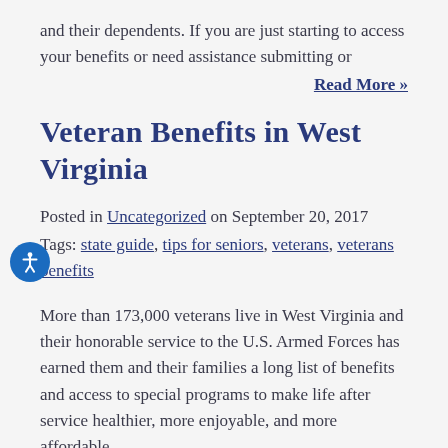and their dependents. If you are just starting to access your benefits or need assistance submitting or
Read More »
Veteran Benefits in West Virginia
Posted in Uncategorized on September 20, 2017
Tags: state guide, tips for seniors, veterans, veterans benefits
More than 173,000 veterans live in West Virginia and their honorable service to the U.S. Armed Forces has earned them and their families a long list of benefits and access to special programs to make life after service healthier, more enjoyable, and more affordable